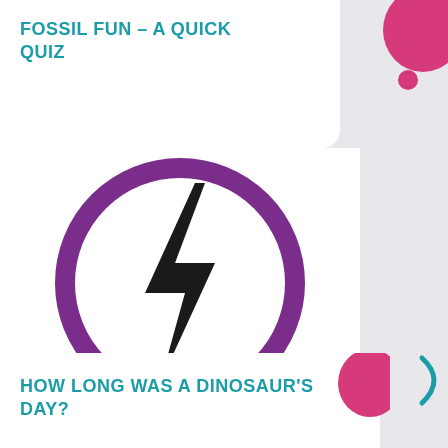FOSSIL FUN – A QUICK QUIZ
[Figure (illustration): Purple circle outline with a black lightning bolt icon in the center]
HOW LONG WAS A DINOSAUR'S DAY?